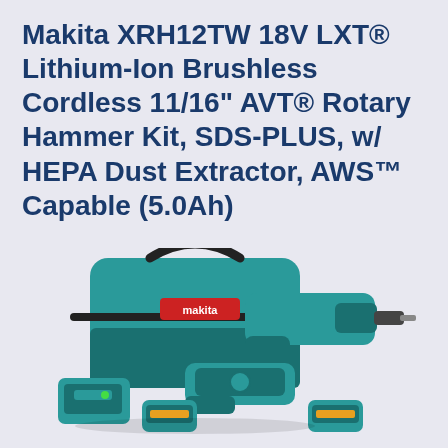Makita XRH12TW 18V LXT® Lithium-Ion Brushless Cordless 11/16" AVT® Rotary Hammer Kit, SDS-PLUS, w/ HEPA Dust Extractor, AWS™ Capable (5.0Ah)
[Figure (photo): Product kit photo showing a teal/black Makita tool bag, a cordless rotary hammer drill, a HEPA dust extractor attachment, two 18V LXT batteries, and a battery charger — all in teal and black Makita branding.]